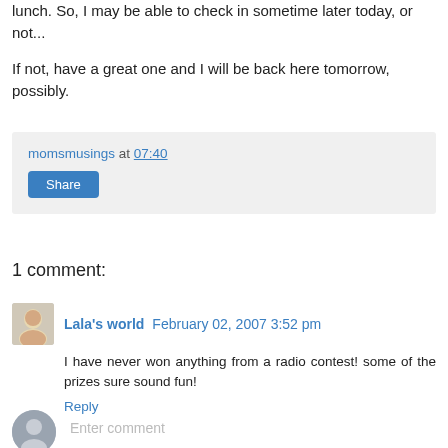lunch. So, I may be able to check in sometime later today, or not...
If not, have a great one and I will be back here tomorrow, possibly.
momsmusings at 07:40 Share
1 comment:
Lala's world February 02, 2007 3:52 pm
I have never won anything from a radio contest! some of the prizes sure sound fun!
Reply
Enter comment